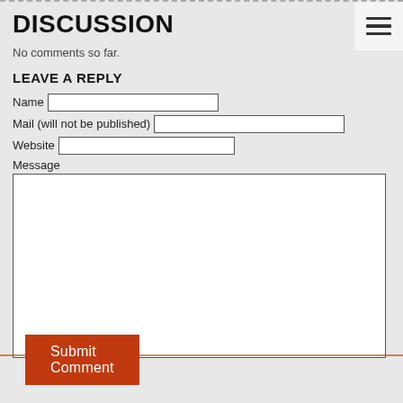DISCUSSION
No comments so far.
LEAVE A REPLY
Name [input field]
Mail (will not be published) [input field]
Website [input field]
Message
[textarea]
Submit Comment